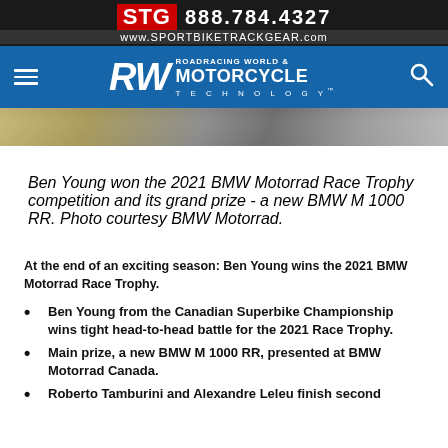[Figure (screenshot): STG ad banner with logo, phone number 888.784.4327 and website www.SPORTBIKETRACKGEAR.com]
[Figure (logo): Roadracing World & Motorcycle Technology navigation bar with hamburger menu and search icon]
[Figure (photo): Partial photo strip showing blurred motorcycle/track surface]
Ben Young won the 2021 BMW Motorrad Race Trophy competition and its grand prize - a new BMW M 1000 RR. Photo courtesy BMW Motorrad.
At the end of an exciting season: Ben Young wins the 2021 BMW Motorrad Race Trophy.
Ben Young from the Canadian Superbike Championship wins tight head-to-head battle for the 2021 Race Trophy.
Main prize, a new BMW M 1000 RR, presented at BMW Motorrad Canada.
Roberto Tamburini and Alexandre Leleu finish second and third.